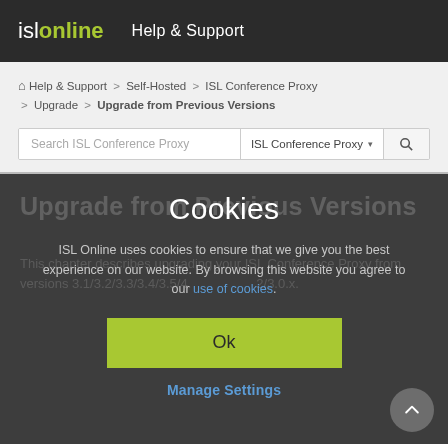isl online   Help & Support
Help & Support > Self-Hosted > ISL Conference Proxy > Upgrade > Upgrade from Previous Versions
Search ISL Conference Proxy  ISL Conference Proxy ▾ 🔍
Cookies
ISL Online uses cookies to ensure that we give you the best experience on our website. By browsing this website you agree to our use of cookies.
Ok
Manage Settings
Upgrade from Previous Versions
This chapter describes upgrading your ISL Conference Proxy from versions 3.1/3.2/3.3/3.4/3.5/4.x to older 2/3.0.x.